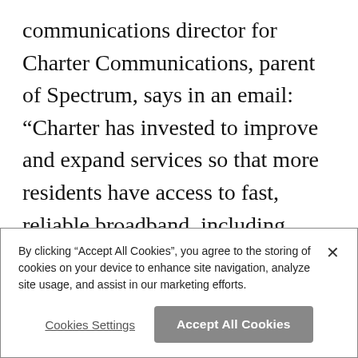communications director for Charter Communications, parent of Spectrum, says in an email: “Charter has invested to improve and expand services so that more residents have access to fast, reliable broadband, including building to 6,000 new homes and businesses in Hawai’i in 2019. Over the last two years, Charter has expanded its network to provide broadband to over 1.5 million homes and businesses in the
By clicking “Accept All Cookies”, you agree to the storing of cookies on your device to enhance site navigation, analyze site usage, and assist in our marketing efforts.
Cookies Settings
Accept All Cookies